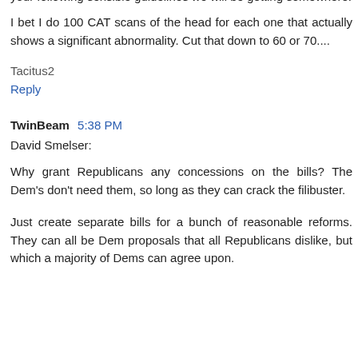not going to be found liable if bad outcomes happen despite your following sensible guidelines we will be getting somewhere.
I bet I do 100 CAT scans of the head for each one that actually shows a significant abnormality. Cut that down to 60 or 70....
Tacitus2
Reply
TwinBeam 5:38 PM
David Smelser:
Why grant Republicans any concessions on the bills? The Dem's don't need them, so long as they can crack the filibuster.
Just create separate bills for a bunch of reasonable reforms. They can all be Dem proposals that all Republicans dislike, but which a majority of Dems can agree upon.